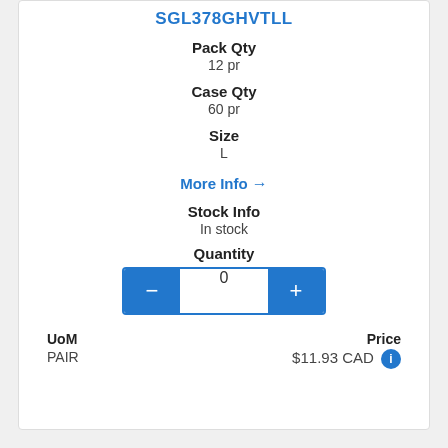SGL378GHVTLL
Pack Qty
12 pr
Case Qty
60 pr
Size
L
More Info →
Stock Info
In stock
Quantity
0
UoM
PAIR
Price
$11.93 CAD